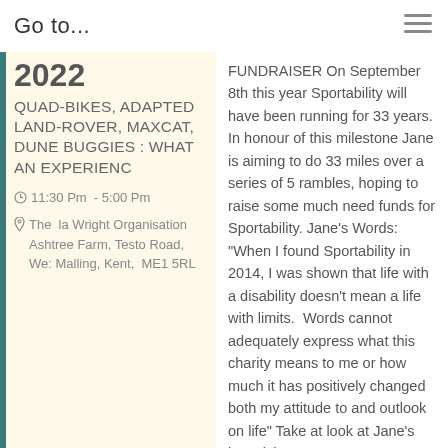Go to...
2022
QUAD-BIKES, ADAPTED LAND-ROVER, MAXCAT, DUNE BUGGIES : WHAT AN EXPERIENCE
11:30 Pm - 5:00 Pm
The la Wright Organisation Ashtree Farm, Testo Road, Wes Malling, Kent, ME1 5RL
FUNDRAISER On September 8th this year Sportability will have been running for 33 years. In honour of this milestone Jane is aiming to do 33 miles over a series of 5 rambles, hoping to raise some much need funds for Sportability. Jane's Words: “When I found Sportability in 2014, I was shown that life with a disability doesn't mean a life with limits. Words cannot adequately express what this charity means to me or how much it has positively changed both my attitude to and outlook on life” Take at look at Jane's just giving